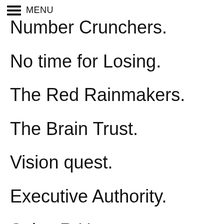MENU
Number Crunchers.
No time for Losing.
The Red Rainmakers.
The Brain Trust.
Vision quest.
Executive Authority.
Sales R Us.